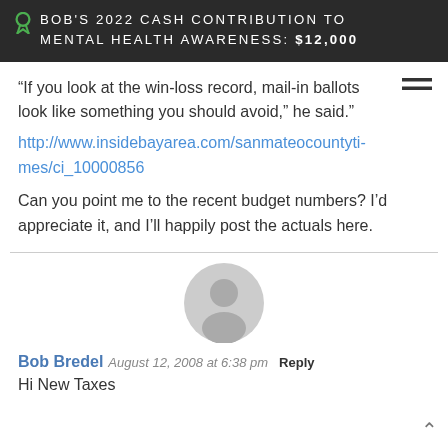BOB'S 2022 CASH CONTRIBUTION TO MENTAL HEALTH AWARENESS: $12,000
“If you look at the win-loss record, mail-in ballots look like something you should avoid,” he said.”
http://www.insidebayarea.com/sanmateocountytimes/ci_10000856
Can you point me to the recent budget numbers? I’d appreciate it, and I’ll happily post the actuals here.
Bob Bredel August 12, 2008 at 6:38 pm Reply
Hi New Taxes